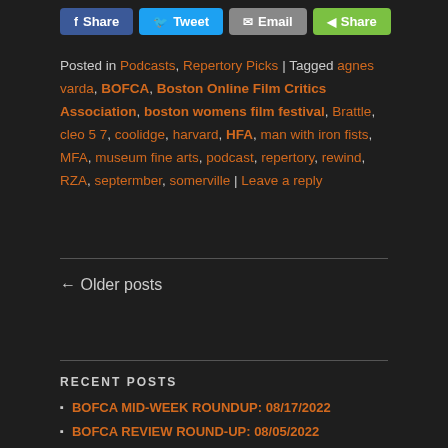[Figure (other): Social share buttons: Facebook Share, Twitter Tweet, Email, green Share]
Posted in Podcasts, Repertory Picks | Tagged agnes varda, BOFCA, Boston Online Film Critics Association, boston womens film festival, Brattle, cleo 5 7, coolidge, harvard, HFA, man with iron fists, MFA, museum fine arts, podcast, repertory, rewind, RZA, septermber, somerville | Leave a reply
← Older posts
RECENT POSTS
BOFCA MID-WEEK ROUNDUP: 08/17/2022
BOFCA REVIEW ROUND-UP: 08/05/2022
BOFCA MID-WEEK ROUNDUP: 07/06/2022
BOFCA MID-WEEK ROUNDUP: 06/29/2022
BOFCA REVIEW ROUNDUP: 06/24/2022
CATEGORIES